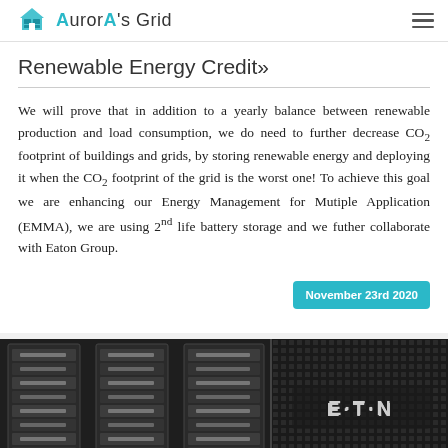Aurora's Grid
Renewable Energy Credit»
We will prove that in addition to a yearly balance between renewable production and load consumption, we do need to further decrease CO₂ footprint of buildings and grids, by storing renewable energy and deploying it when the CO₂ footprint of the grid is the worst one! To achieve this goal we are enhancing our Energy Management for Mutiple Application (EMMA), we are using 2nd life battery storage and we futher collaborate with Eaton Group.
November 23rd 2020
[Figure (photo): Two photos side by side: left shows black server rack battery storage units stacked in rows; right shows an Eaton branded equipment unit with ventilation grille.]